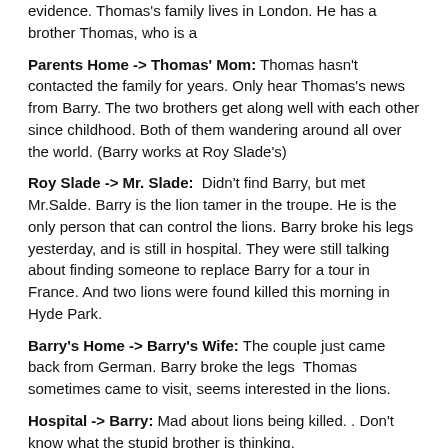evidence. Thomas's family lives in London. He has a brother Thomas, who is a
Parents Home -> Thomas' Mom: Thomas hasn't contacted the family for years. Only hear Thomas's news from Barry. The two brothers get along well with each other since childhood. Both of them wandering around all over the world. (Barry works at Roy Slade's)
Roy Slade -> Mr. Slade: Didn't find Barry, but met Mr.Salde. Barry is the lion tamer in the troupe. He is the only person that can control the lions. Barry broke his legs yesterday, and is still in hospital. They were still talking about finding someone to replace Barry for a tour in France. And two lions were found killed this morning in Hyde Park.
Barry's Home -> Barry's Wife: The couple just came back from German. Barry broke the legs  Thomas sometimes came to visit, seems interested in the lions.
Hospital -> Barry: Mad about lions being killed. . Don't know what the stupid brother is thinking.
Hyde Park: A wagon, blood, lions bodies, leather collar, empty pouches, a gold earring.